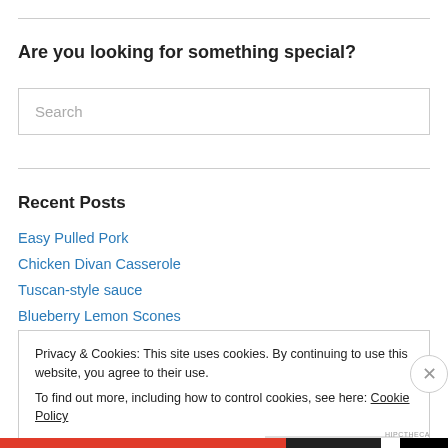Are you looking for something special?
Search
Recent Posts
Easy Pulled Pork
Chicken Divan Casserole
Tuscan-style sauce
Blueberry Lemon Scones
Privacy & Cookies: This site uses cookies. By continuing to use this website, you agree to their use.
To find out more, including how to control cookies, see here: Cookie Policy
Close and accept